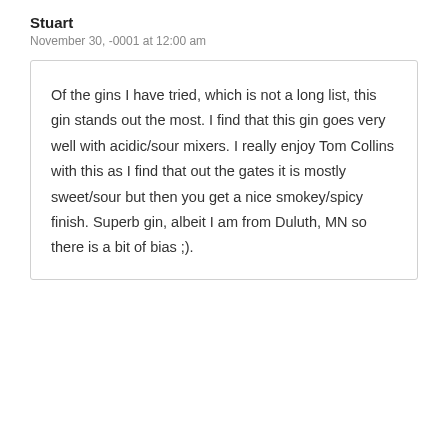Stuart
November 30, -0001 at 12:00 am
Of the gins I have tried, which is not a long list, this gin stands out the most. I find that this gin goes very well with acidic/sour mixers. I really enjoy Tom Collins with this as I find that out the gates it is mostly sweet/sour but then you get a nice smokey/spicy finish. Superb gin, albeit I am from Duluth, MN so there is a bit of bias ;).